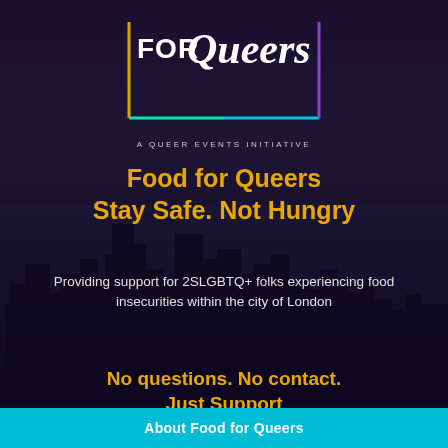[Figure (logo): Food for Queers logo: text FOR Queers in white bold italic with a rectangular border in yellow, purple, blue, and green gradient colors, on dark background]
A QUEER EVENTS INITIATIVE
Food for Queers
Stay Safe. Not Hungry
Providing support for 2SLGBTQ+ folks experiencing food insecurities within the city of London
No questions. No contact.
Just Support
About Food for Queers